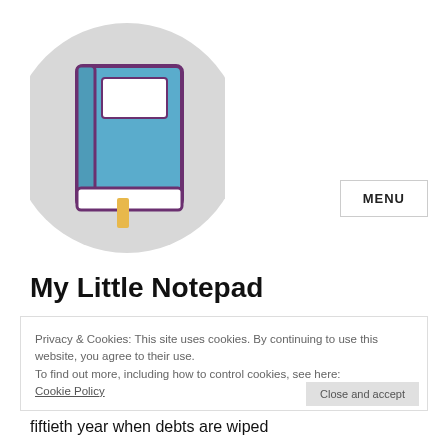[Figure (logo): A circular grey logo featuring a cartoon-style blue notebook/book with a purple outline and a yellow bookmark ribbon, on a light grey circular background]
MENU
My Little Notepad
Privacy & Cookies: This site uses cookies. By continuing to use this website, you agree to their use. To find out more, including how to control cookies, see here: Cookie Policy
Jubilee
Close and accept
In the Old Testament, the word Jubilee is used for every fiftieth year when debts are wiped